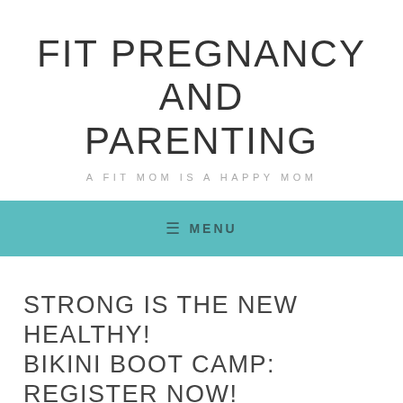FIT PREGNANCY AND PARENTING
A FIT MOM IS A HAPPY MOM
≡  MENU
STRONG IS THE NEW HEALTHY! BIKINI BOOT CAMP: REGISTER NOW!
May 27, 2015